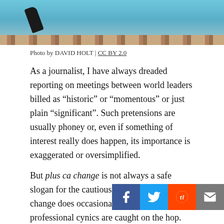[Figure (photo): Top portion of a photo showing a blue mural or wall with a bird shape and brick wall below]
Photo by DAVID HOLT | CC BY 2.0
As a journalist, I have always dreaded reporting on meetings between world leaders billed as “historic” or “momentous” or just plain “significant”. Such pretensions are usually phoney or, even if something of interest really does happen, its importance is exaggerated or oversimplified.
But plus ca change is not always a safe slogan for the cautious reporter, because real change does occasionally take place and professional cynics are caught on the hop.
Watching the “historic” meeting between the leaders of North and South Korea at the Panmunjom border crossing this weekend – and [social bar overlay] reporters bubbling over with excitement – it was